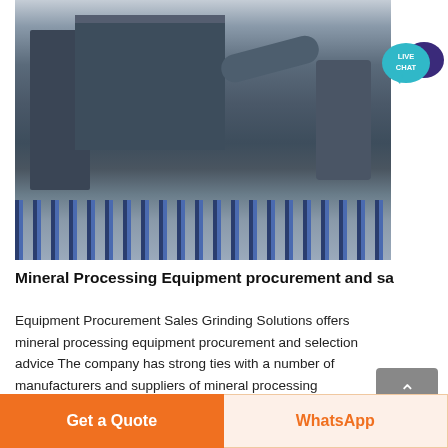[Figure (photo): Industrial mineral processing equipment — large dust collector/filter units, pipes, and machinery behind a blue metal fence, with power lines and sky in background]
Mineral Processing Equipment procurement and sa
Equipment Procurement Sales Grinding Solutions offers mineral processing equipment procurement and selection advice The company has strong ties with a number of manufacturers and suppliers of mineral processing
[Figure (other): Live Chat button — teal speech bubble with 'LIVE CHAT' text and dark purple chat icon]
[Figure (other): Back to top button — grey rounded square with up arrow and 'Top' label]
Get a Quote
WhatsApp